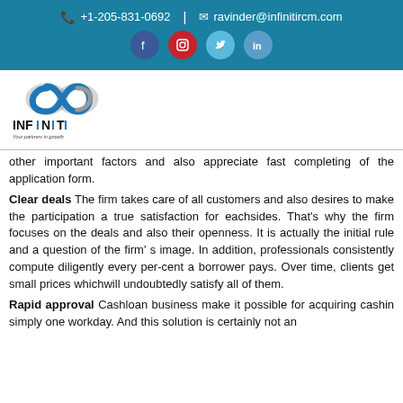+1-205-831-0692 | ravinder@infinitircm.com
[Figure (logo): Infiniti RCM logo with infinity symbol and text 'INFINITI Your partners in growth']
other important factors and also appreciate fast completing of the application form.
Clear deals The firm takes care of all customers and also desires to make the participation a true satisfaction for eachsides. That’s why the firm focuses on the deals and also their openness. It is actually the initial rule and a question of the firm’ s image. In addition, professionals consistently compute diligently every per-cent a borrower pays. Over time, clients get small prices whichwill undoubtedly satisfy all of them.
Rapid approval Cashloan business make it possible for acquiring cashin simply one workday. And this solution is certainly not an